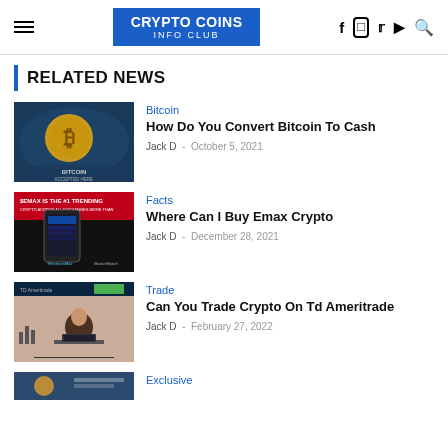CRYPTO COINS INFO CLUB
RELATED NEWS
[Figure (photo): Bitcoin logo on world map background with 'BITCOIN ACCEPTED HERE' text]
Bitcoin
How Do You Convert Bitcoin To Cash
Jack D  -  October 5, 2021
[Figure (photo): EMAX IS THE #1 TRENDING promotional image with phone showing crypto app and MarketWatch logo]
Facts
Where Can I Buy Emax Crypto
Jack D  -  December 28, 2021
[Figure (photo): TD Ameritrade website screenshot with man at laptop on desk]
Trade
Can You Trade Crypto On Td Ameritrade
Jack D  -  February 27, 2022
[Figure (photo): Partial thumbnail image at bottom of page]
Exclusive